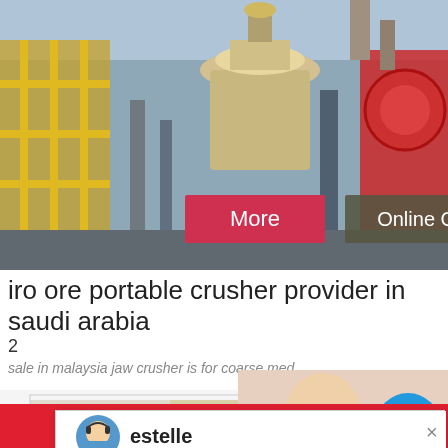[Figure (photo): Industrial machinery/crusher equipment photo with yellow scaffolding and red/white equipment, with two overlay buttons: 'More' (red) and 'Online Chat' (dark olive/brown)]
iro ore portable crusher provider in saudi arabia
2
sale in malaysia jaw crusher is for coarse med
[Figure (screenshot): Live chat popup overlay with agent avatar (cartoon headset), name 'estelle', and message: 'Welcome to Liming Heavy Industry! Now our on-line service is chatting with you! Please choose the language :']
[Figure (photo): Cone crusher machine (beige/tan colored industrial crusher) in lower portion of page]
[Figure (photo): Customer service representative (woman with headset) with blue circle badge showing '1', and a panel below saying 'Need questions & suggestion?' with a red 'Chat Now' button]
Chat Online